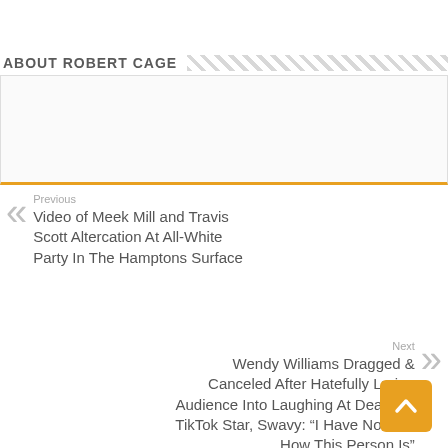ABOUT ROBERT CAGE
[Figure (other): Empty author bio box with orange bottom border]
Previous
Video of Meek Mill and Travis Scott Altercation At All-White Party In The Hamptons Surface
Next
Wendy Williams Dragged & Canceled After Hatefully Luring Audience Into Laughing At Death Of TikTok Star, Swavy: “I Have No Idea How This Person Is”